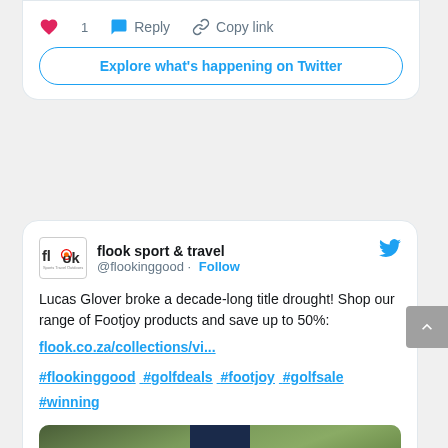[Figure (screenshot): Partial Twitter/X tweet card showing likes count (1), Reply and Copy link actions, and Explore what's happening on Twitter button]
[Figure (screenshot): Twitter/X tweet from flook sport & travel (@flookinggood) promoting Footjoy products, mentioning Lucas Glover's title drought broken, with link flook.co.za/collections/vi... and hashtags #flookinggood #golfdeals #footjoy #golfsale #winning, with partial golf photo below]